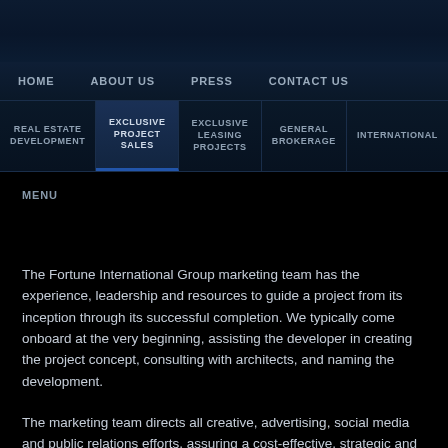HOME   ABOUT US   PRESS   CONTACT US
REAL ESTATE DEVELOPMENT | EXCLUSIVE PROJECT SALES | EXCLUSIVE LEASING PROJECTS | GENERAL BROKERAGE | INTERNATIONAL
MENU
The Fortune International Group marketing team has the experience, leadership and resources to guide a project from its inception through its successful completion. We typically come onboard at the very beginning, assisting the developer in creating the project concept, consulting with architects, and naming the development.
The marketing team directs all creative, advertising, social media and public relations efforts, assuring a cost-effective, strategic and coordinated plan. Developer clients benefit from Fortune International Group's volume purchasing power and seasoned professional relationships with advertising agencies, digital media experts, printers and publishers. The unique blend of pooled talent and market awareness keep the projects we represent at the